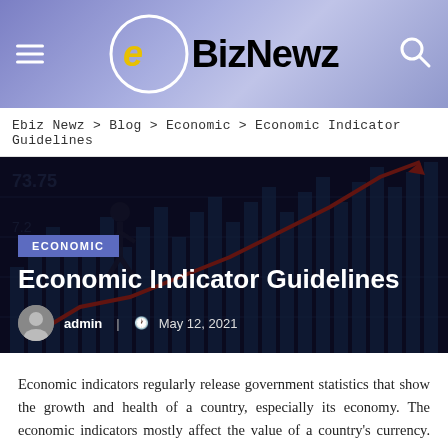eBizNewz
Ebiz Newz > Blog > Economic > Economic Indicator Guidelines
[Figure (photo): Dark financial chart background with red upward arrow and a silhouette of a person running, with stock chart numbers visible]
ECONOMIC
Economic Indicator Guidelines
admin   May 12, 2021
Economic indicators regularly release government statistics that show the growth and health of a country, especially its economy. The economic indicators mostly affect the value of a country's currency. This is the main statistic that shows the direction of the economy. Trade deficit, gross national products (GNP), industria...